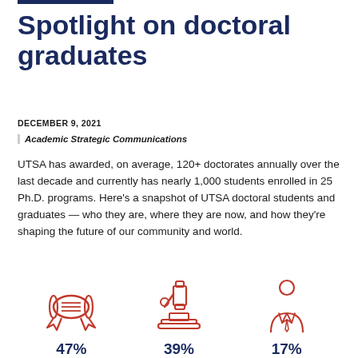Spotlight on doctoral graduates
DECEMBER 9, 2021
Academic Strategic Communications
UTSA has awarded, on average, 120+ doctorates annually over the last decade and currently has nearly 1,000 students enrolled in 25 Ph.D. programs. Here’s a snapshot of UTSA doctoral students and graduates — who they are, where they are now, and how they’re shaping the future of our community and world.
[Figure (infographic): Three orange icons: a diploma scroll (47%), a microscope (39%), and a person/professional figure (17%)]